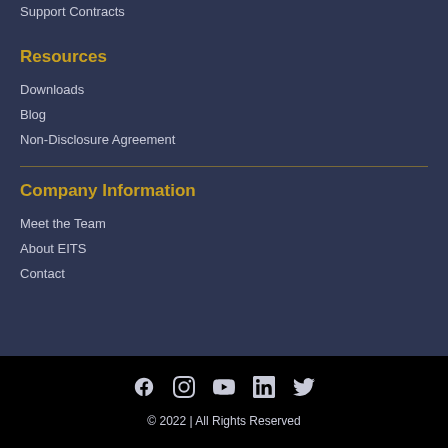Support Contracts
Resources
Downloads
Blog
Non-Disclosure Agreement
Company Information
Meet the Team
About EITS
Contact
© 2022 | All Rights Reserved